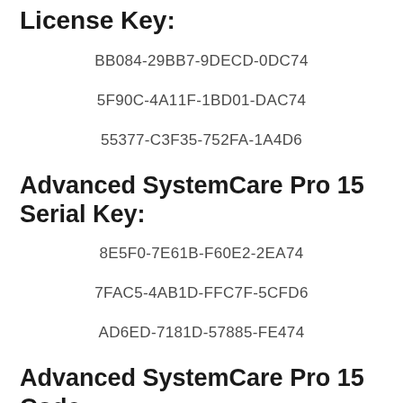License Key:
BB084-29BB7-9DECD-0DC74
5F90C-4A11F-1BD01-DAC74
55377-C3F35-752FA-1A4D6
Advanced SystemCare Pro 15  Serial Key:
8E5F0-7E61B-F60E2-2EA74
7FAC5-4AB1D-FFC7F-5CFD6
AD6ED-7181D-57885-FE474
Advanced SystemCare Pro 15 Code: